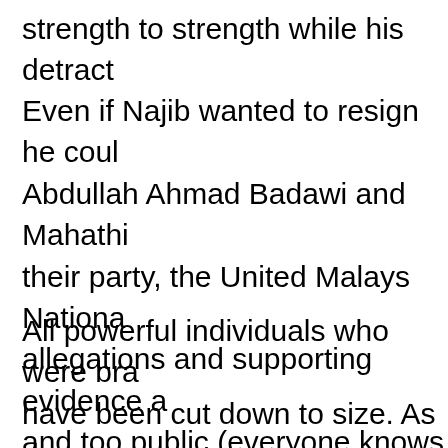strength to strength while his detract
Even if Najib wanted to resign he coul Abdullah Ahmad Badawi and Mahathi their party, the United Malays Nationa allegations and supporting evidence a and too public (everyone knows abou not be designed without compromisin
All powerful individuals who were bra have been cut down to size. As demon deputy prime minister Muhyiddin Yass